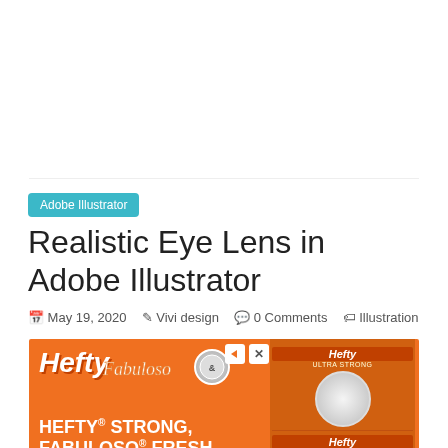[Figure (other): Blank white advertisement or image space at top of page]
Adobe Illustrator
Realistic Eye Lens in Adobe Illustrator
May 19, 2020   Vivi design   0 Comments   Illustration
[Figure (other): Hefty and Fabuloso advertisement banner with orange background, showing Hefty and Fabuloso product logos, Arm & Hammer symbol, trash bags, and tagline HEFTY STRONG, FABULOSO FRESH]